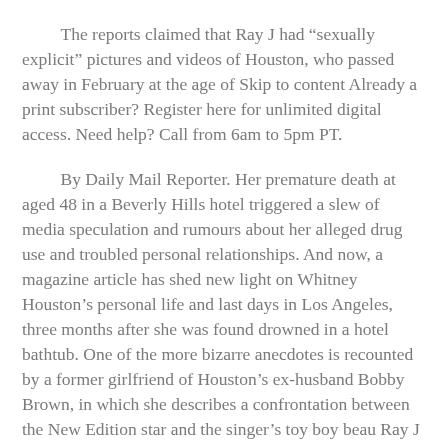The reports claimed that Ray J had “sexually explicit” pictures and videos of Houston, who passed away in February at the age of Skip to content Already a print subscriber? Register here for unlimited digital access. Need help? Call from 6am to 5pm PT.
By Daily Mail Reporter. Her premature death at aged 48 in a Beverly Hills hotel triggered a slew of media speculation and rumours about her alleged drug use and troubled personal relationships. And now, a magazine article has shed new light on Whitney Houston’s personal life and last days in Los Angeles, three months after she was found drowned in a hotel bathtub. One of the more bizarre anecdotes is recounted by a former girlfriend of Houston’s ex-husband Bobby Brown, in which she describes a confrontation between the New Edition star and the singer’s toy boy beau Ray J back in Love triangle: